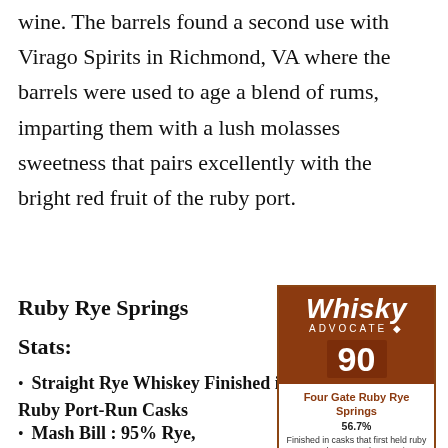wine. The barrels found a second use with Virago Spirits in Richmond, VA where the barrels were used to age a blend of rums, imparting them with a lush molasses sweetness that pairs excellently with the bright red fruit of the ruby port.
Ruby Rye Springs Stats:
Straight Rye Whiskey Finished in Ruby Port-Run Casks
Mash Bill : 95% Rye,
[Figure (other): Whisky Advocate badge showing score 90 for Four Gate Ruby Rye Springs 56.7%. Text describes: Finished in casks that first held ruby port, then rum. The nose is dominated by mature vanilla and dark fruit aromas: blueberry syrup, Concord grape juice, and Cherry Vanilla Dr. Pepper, along with tobacco barn, tea leaf, chocolate orange, and maple syrup. It's thick and chewy on the palate, blackberry cobbler and cherry syrup mingling with mint-flavored dark chocolate, orange, and...]